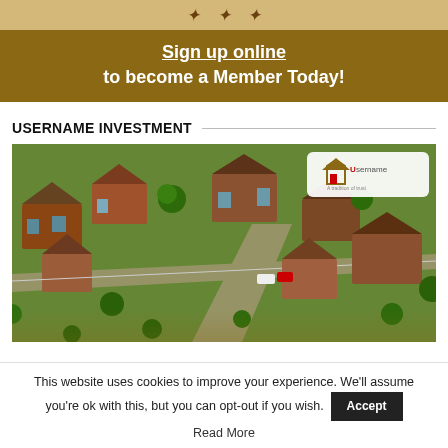[Figure (illustration): Tan/gold decorative banner strip at top with italic script text]
Sign up online
to become a Member Today!
USERNAME INVESTMENT
[Figure (photo): Aerial 3D rendering of a residential housing development with houses, roads, gardens and trees. Username Investments logo visible in upper right of image.]
This website uses cookies to improve your experience. We'll assume you're ok with this, but you can opt-out if you wish. Accept
Read More